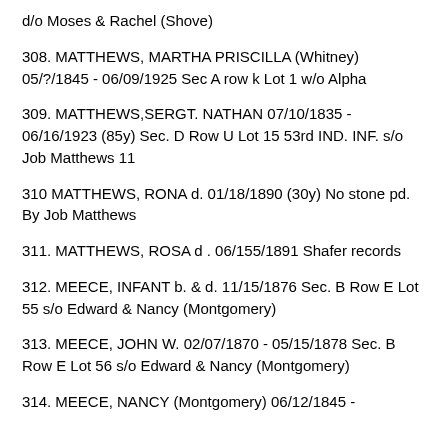d/o Moses & Rachel (Shove)
308. MATTHEWS, MARTHA PRISCILLA (Whitney) 05/?/1845 - 06/09/1925 Sec A row k Lot 1 w/o Alpha
309. MATTHEWS,SERGT. NATHAN 07/10/1835 - 06/16/1923 (85y) Sec. D Row U Lot 15 53rd IND. INF. s/o Job Matthews 11
310 MATTHEWS, RONA d. 01/18/1890 (30y) No stone pd. By Job Matthews
311. MATTHEWS, ROSA d . 06/155/1891 Shafer records
312. MEECE, INFANT b. & d. 11/15/1876 Sec. B Row E Lot 55 s/o Edward & Nancy (Montgomery)
313. MEECE, JOHN W. 02/07/1870 - 05/15/1878 Sec. B Row E Lot 56 s/o Edward & Nancy (Montgomery)
314. MEECE, NANCY (Montgomery) 06/12/1845 -